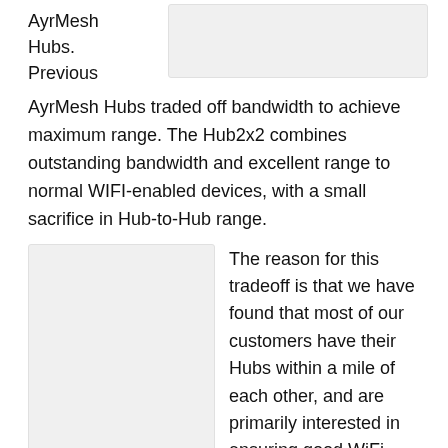AyrMesh Hubs.
Previous
[Figure (other): Light gray placeholder image/box in upper right area]
AyrMesh Hubs traded off bandwidth to achieve maximum range. The Hub2x2 combines outstanding bandwidth and excellent range to normal WIFI-enabled devices, with a small sacrifice in Hub-to-Hub range.
[Figure (other): Light gray placeholder image/box in lower left area]
The reason for this tradeoff is that we have found that most of our customers have their Hubs within a mile of each other, and are primarily interested in ensuring good WiFi coverage with excellent speed around their home, pool